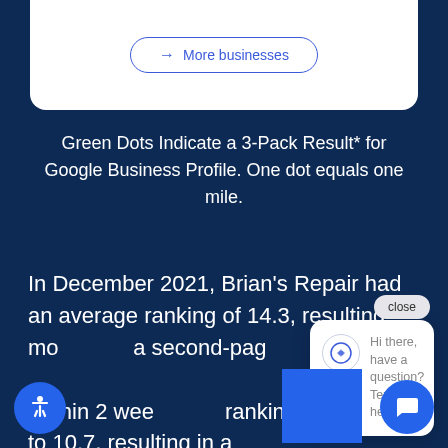[Figure (screenshot): Top white card area with 'More businesses' button with arrow]
Green Dots Indicate a 3-Pack Result* for Google Business Profile. One dot equals one mile.
In December 2021, Brian's Repair had an average ranking of 14.3, resulting mo a second-pag Within 2 wee ranking increased to 10.7, resulting in a % increase in search rankin
[Figure (screenshot): Chat popup with close button. Logo icon and text: Hi there, have a question? Text us here.]